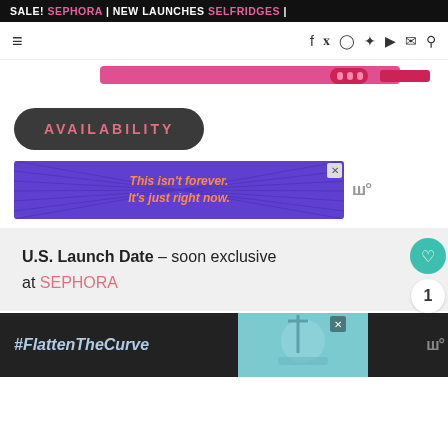SALE! SEPHORA | NEW LAUNCHES SELFRIDGES |
[Figure (screenshot): Website navigation bar with hamburger menu and social media icons (Facebook, Twitter, Instagram, Pinterest, YouTube, email, search)]
[Figure (photo): Partial product image strip in pink/magenta color]
AVAILABILITY
[Figure (infographic): Advertisement banner with purple starburst background and orange italic text: This isn't forever. It's just right now.]
U.S. Launch Date – soon exclusive at SEPHORA
[Figure (infographic): Dark background advertisement banner with text #FlattenTheCurve and a photo of hands being washed]